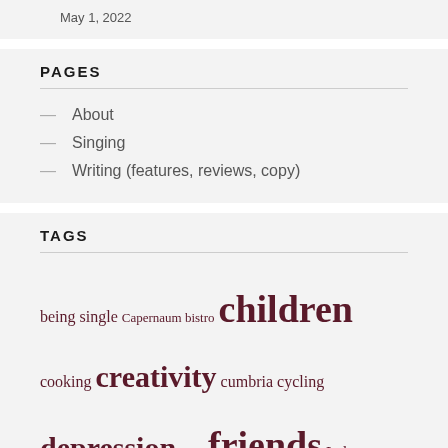May 1, 2022
PAGES
About
Singing
Writing (features, reviews, copy)
TAGS
being single Capernaum bistro children cooking creativity cumbria cycling depression food friends Lake District lakes